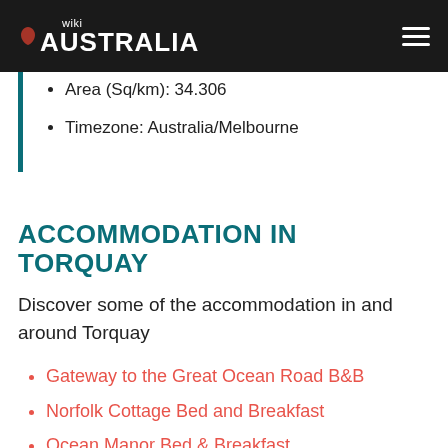wiki AUSTRALIA
Area (Sq/km): 34.306
Timezone: Australia/Melbourne
ACCOMMODATION IN TORQUAY
Discover some of the accommodation in and around Torquay
Gateway to the Great Ocean Road B&B
Norfolk Cottage Bed and Breakfast
Ocean Manor Bed & Breakfast
Ryan's Retreat Torquay